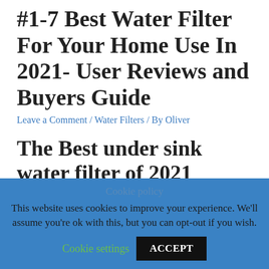#1-7 Best Water Filter For Your Home Use In 2021- User Reviews and Buyers Guide
Leave a Comment / Water Filters / By Oliver
The Best under sink water filter of 2021 REVEALED
Leave a Comment / Water Filters / By Oliver
Cookie policy
This website uses cookies to improve your experience. We'll assume you're ok with this, but you can opt-out if you wish.
Cookie settings  ACCEPT